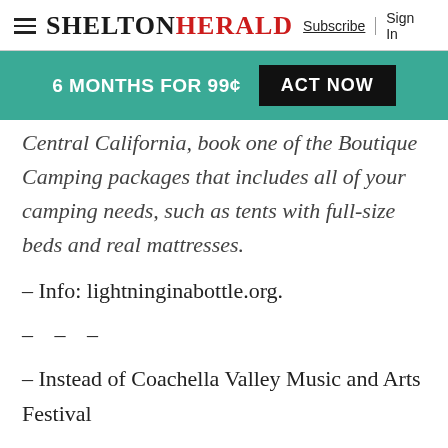SHELTON HERALD | Subscribe | Sign In
[Figure (infographic): Teal promotional banner with text '6 MONTHS FOR 99¢' and black button 'ACT NOW']
Central California, book one of the Boutique Camping packages that includes all of your camping needs, such as tents with full-size beds and real mattresses.
– Info: lightninginabottle.org.
– – –
– Instead of Coachella Valley Music and Arts Festival